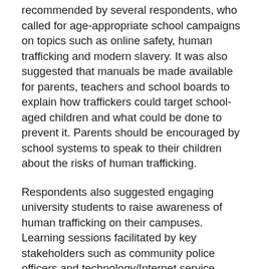recommended by several respondents, who called for age-appropriate school campaigns on topics such as online safety, human trafficking and modern slavery. It was also suggested that manuals be made available for parents, teachers and school boards to explain how traffickers could target school-aged children and what could be done to prevent it. Parents should be encouraged by school systems to speak to their children about the risks of human trafficking.
Respondents also suggested engaging university students to raise awareness of human trafficking on their campuses. Learning sessions facilitated by key stakeholders such as community police officers and technology/Internet service providers could be beneficial for raising awareness on human trafficking.
The media were identified as a resource that can be used to inform the public about human trafficking, while smartphone applications and interactive tools can make education and prevention accessible, along with curriculum